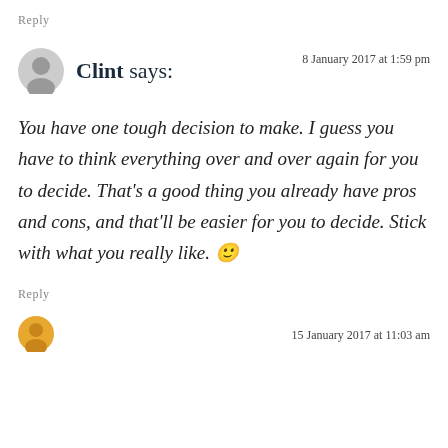Reply
Clint says:
8 January 2017 at 1:59 pm
You have one tough decision to make. I guess you have to think everything over and over again for you to decide. That's a good thing you already have pros and cons, and that'll be easier for you to decide. Stick with what you really like. 🙂
Reply
15 January 2017 at 11:03 am